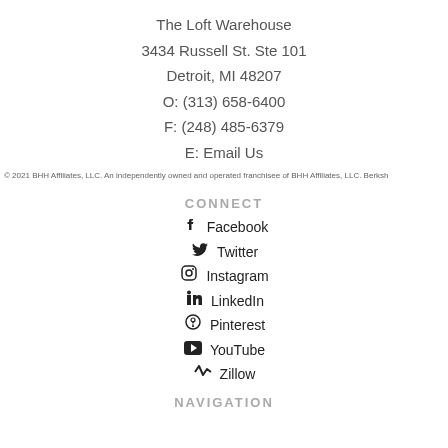The Loft Warehouse
3434 Russell St. Ste 101
Detroit, MI 48207
O: (313) 658-6400
F: (248) 485-6379
E: Email Us
© 2021 BHH Affiliates, LLC. An independently owned and operated franchisee of BHH Affiliates, LLC. Berksh
CONNECT
Facebook
Twitter
Instagram
LinkedIn
Pinterest
YouTube
Zillow
NAVIGATION